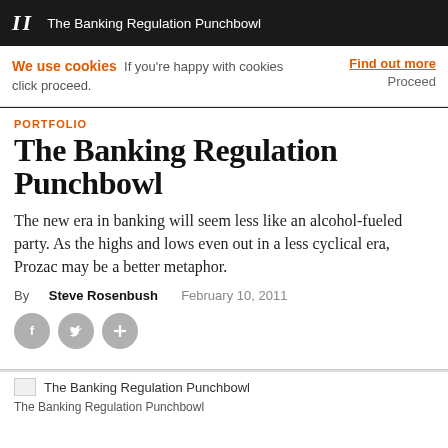II  The Banking Regulation Punchbowl
We use cookies  If you're happy with cookies click proceed.   Find out more   Proceed
PORTFOLIO
The Banking Regulation Punchbowl
The new era in banking will seem less like an alcohol-fueled party. As the highs and lows even out in a less cyclical era, Prozac may be a better metaphor.
By  Steve Rosenbush   February 10, 2011
[Figure (other): Social sharing icons: Facebook, Twitter, and plus/share button]
The Banking Regulation Punchbowl
The Banking Regulation Punchbowl